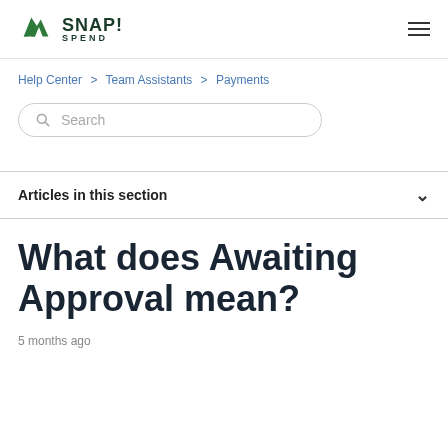SNAP! SPEND
Help Center > Team Assistants > Payments
Search
Articles in this section
What does Awaiting Approval mean?
5 months ago